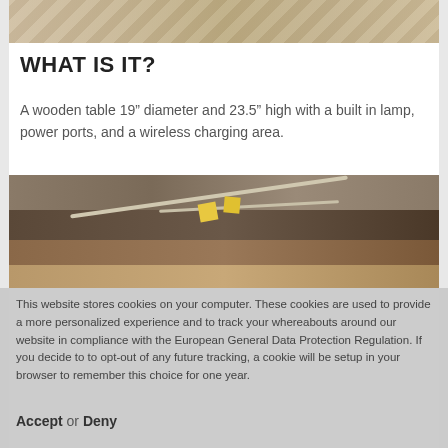[Figure (photo): Top portion of a wooden table or surface showing wood grain texture in beige and tan tones]
WHAT IS IT?
A wooden table 19” diameter and 23.5” high with a built in lamp, power ports, and a wireless charging area.
[Figure (photo): Photo of cables and components including yellow tags/labels on a patterned rug or carpet surface with wood flooring visible]
This website stores cookies on your computer. These cookies are used to provide a more personalized experience and to track your whereabouts around our website in compliance with the European General Data Protection Regulation. If you decide to to opt-out of any future tracking, a cookie will be setup in your browser to remember this choice for one year.
Accept or Deny